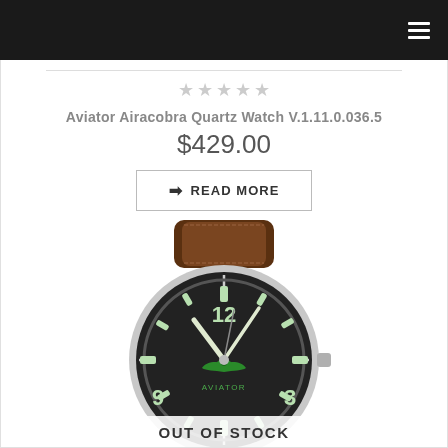Navigation header with hamburger menu
[Figure (other): Five empty star rating icons in a row]
Aviator Airacobra Quartz Watch V.1.11.0.036.5
$429.00
READ MORE
[Figure (photo): Aviator Airacobra watch with dark black dial showing green luminous numerals and hands, silver case, brown leather strap. The watch shows 12, 3, 9 numerals and AVIATOR logo with wings in green.]
OUT OF STOCK